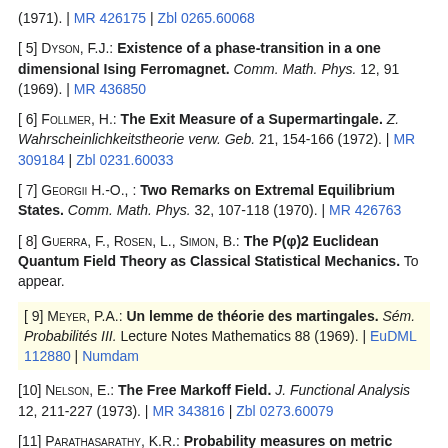(1971). | MR 426175 | Zbl 0265.60068
[ 5] Dyson, F.J.: Existence of a phase-transition in a one dimensional Ising Ferromagnet. Comm. Math. Phys. 12, 91 (1969). | MR 436850
[ 6] Follmer, H.: The Exit Measure of a Supermartingale. Z. Wahrscheinlichkeitstheorie verw. Geb. 21, 154-166 (1972). | MR 309184 | Zbl 0231.60033
[ 7] Georgii H.-O., : Two Remarks on Extremal Equilibrium States. Comm. Math. Phys. 32, 107-118 (1970). | MR 426763
[ 8] Guerra, F., Rosen, L., Simon, B.: The P(φ)2 Euclidean Quantum Field Theory as Classical Statistical Mechanics. To appear.
[ 9] Meyer, P.A.: Un lemme de théorie des martingales. Sém. Probabilités III. Lecture Notes Mathematics 88 (1969). | EuDML 112880 | Numdam
[10] Nelson, E.: The Free Markoff Field. J. Functional Analysis 12, 211-227 (1973). | MR 343816 | Zbl 0273.60079
[11] Parathasarathy, K.R.: Probability measures on metric spaces. New York-London: Academic Press 1967. | Zbl